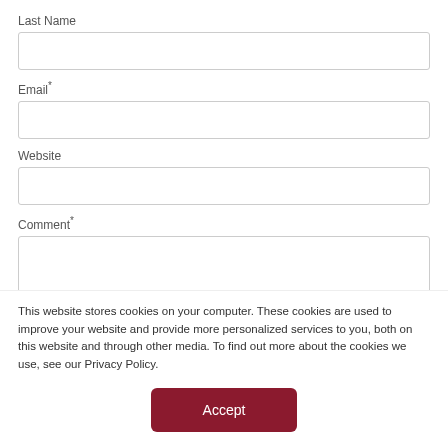Last Name
Email*
Website
Comment*
[Figure (screenshot): A blue submit button and a reCAPTCHA widget partially visible at the bottom of a web form]
This website stores cookies on your computer. These cookies are used to improve your website and provide more personalized services to you, both on this website and through other media. To find out more about the cookies we use, see our Privacy Policy.
Accept